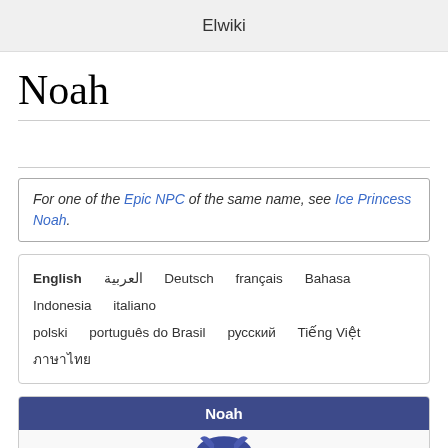Elwiki
Noah
For one of the Epic NPC of the same name, see Ice Princess Noah.
| English | العربية | Deutsch | français | Bahasa Indonesia | italiano | polski | português do Brasil | русский | Tiếng Việt | ภาษาไทย |
| --- | --- | --- | --- | --- | --- | --- | --- | --- | --- | --- |
[Figure (illustration): Infobox with dark blue header reading 'Noah' and an anime-style character illustration of Noah with blue hair and blue armor below it.]